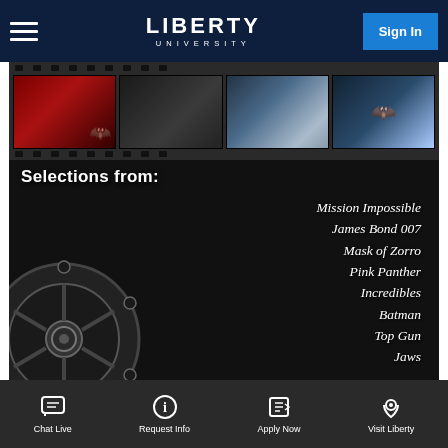Liberty University — Navigation bar with hamburger menu, Liberty University logo, Sign In button
[Figure (screenshot): Movie selections promotional image with film strip showing movie stills at top (Batman, Mission Impossible style, and other films), large text 'Selections from:' and italic list of movies: Mission Impossible, James Bond 007, Mask of Zorro, Pink Panther, Incredibles, Batman, Top Gun, Jaws. Film reel graphic visible in lower left corner. Dark background.]
Chat Live | Request Info | Apply Now | Visit Liberty